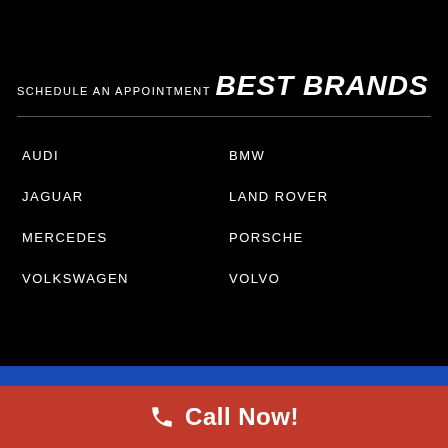SCHEDULE AN APPOINTMENT
BEST BRANDS
AUDI
BMW
JAGUAR
LAND ROVER
MERCEDES
PORSCHE
VOLKSWAGEN
VOLVO
Call Now!